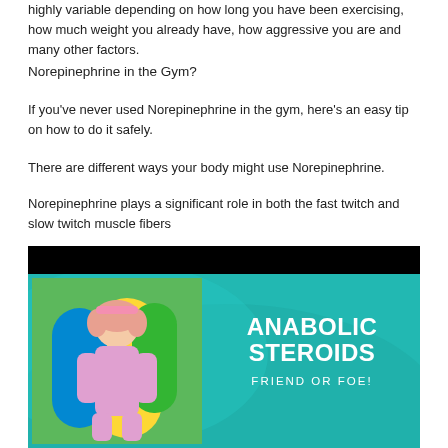highly variable depending on how long you have been exercising, how much weight you already have, how aggressive you are and many other factors.
Norepinephrine in the Gym?
If you've never used Norepinephrine in the gym, here's an easy tip on how to do it safely.
There are different ways your body might use Norepinephrine.
Norepinephrine plays a significant role in both the fast twitch and slow twitch muscle fibers
[Figure (illustration): Image with black header bar and teal background showing a young girl flexing her arms with text 'ANABOLIC STEROIDS FRIEND OR FOE!' in white lettering on the right side.]